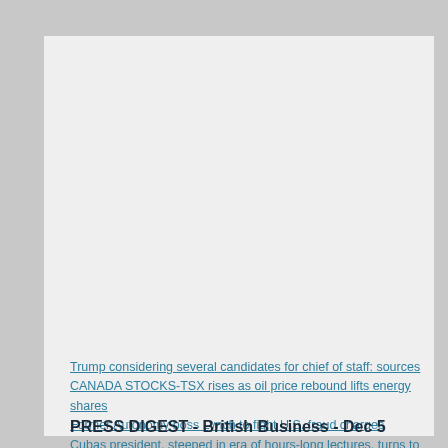Trump considering several candidates for chief of staff: sources
CANADA STOCKS-TSX rises as oil price rebound lifts energy shares
Former Autonomy boss Lynch to fight U.S. fraud charges
Cubas president, steeped in era of hours-long lectures, turns to Twitter
PRESS DIGEST - British Business - Dec 5